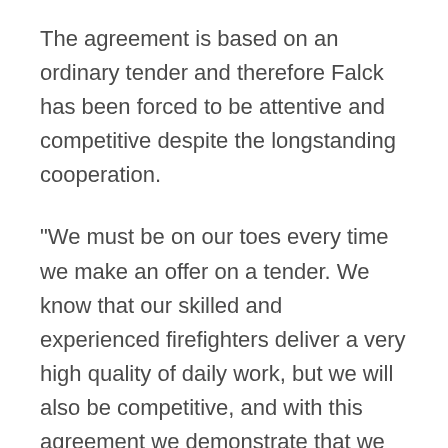The agreement is based on an ordinary tender and therefore Falck has been forced to be attentive and competitive despite the longstanding cooperation.
"We must be on our toes every time we make an offer on a tender. We know that our skilled and experienced firefighters deliver a very high quality of daily work, but we will also be competitive, and with this agreement we demonstrate that we are," says Falck's Lars Vester Pedersen.
The agreement entails the operation of